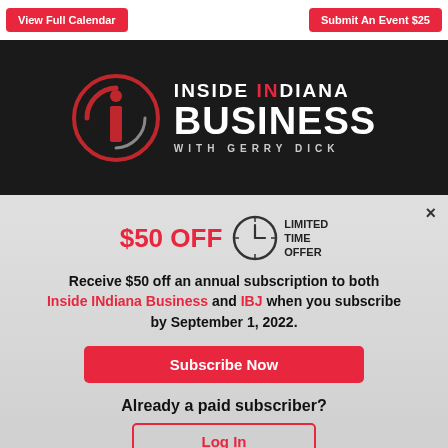View Full Calendar | Submit An Event $25
[Figure (logo): Inside INdiana Business with Gerry Dick logo — circular red 'i' icon on dark background, bold white text]
$50 OFF  LIMITED TIME OFFER
Receive $50 off an annual subscription to both Inside INdiana Business and IBJ when you subscribe by September 1, 2022.
Subscribe Now
Already a paid subscriber?
Log In